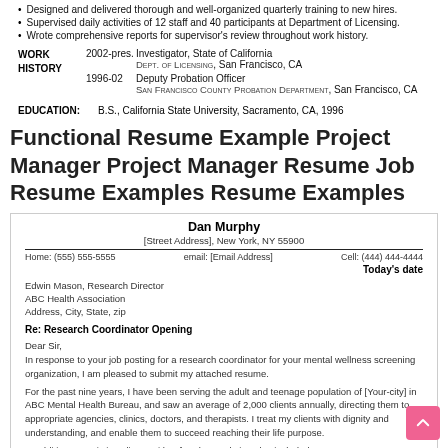Designed and delivered thorough and well-organized quarterly training to new hires.
Supervised daily activities of 12 staff and 40 participants at Department of Licensing.
Wrote comprehensive reports for supervisor's review throughout work history.
WORK HISTORY  2002-pres  Investigator, State of California  DEPT. OF LICENSING, San Francisco, CA  1996-02  Deputy Probation Officer  SAN FRANCISCO COUNTY PROBATION DEPARTMENT, San Francisco, CA
EDUCATION:  B.S., California State University, Sacramento, CA, 1996
Functional Resume Example Project Manager Project Manager Resume Job Resume Examples Resume Examples
Dan Murphy
[Street Address], New York, NY 55900
Home: (555) 555-5555   email: [Email Address]   Cell: (444) 444-4444
Today's date
Edwin Mason, Research Director
ABC Health Association
Address, City, State, zip
Re: Research Coordinator Opening
Dear Sir,
In response to your job posting for a research coordinator for your mental wellness screening organization, I am pleased to submit my attached resume.
For the past nine years, I have been serving the adult and teenage population of [Your-city] in ABC Mental Health Bureau, and saw an average of 2,000 clients annually, directing them to appropriate agencies, clinics, doctors, and therapists. I treat my clients with dignity and understanding, and enable them to succeed reaching their life purpose.
In addition to assisting clients with referrals, my duties also included: